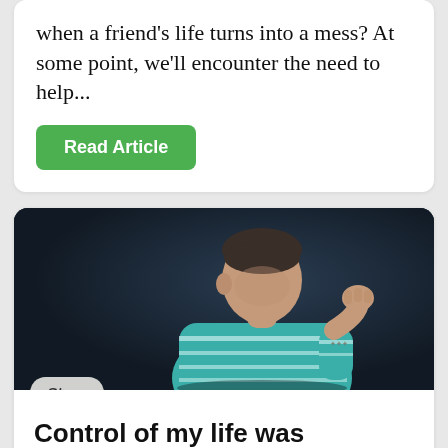when a friend's life turns into a mess? At some point, we'll encounter the need to help...
Read Article
[Figure (photo): A man in a teal/green striped long-sleeve shirt looking down thoughtfully with his hand near his chin, photographed against a dark navy background.]
Story
Control of my life was disastrous